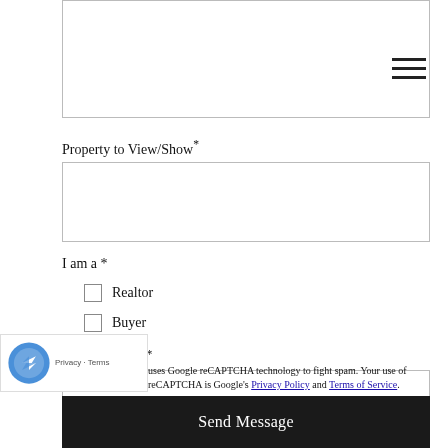Property to View/Show*
I am a *
Realtor
Buyer
Phone Number*
This site uses Google reCAPTCHA technology to fight spam. Your use of reCAPTCHA is subject to Google's Privacy Policy and Terms of Service.
Send Message